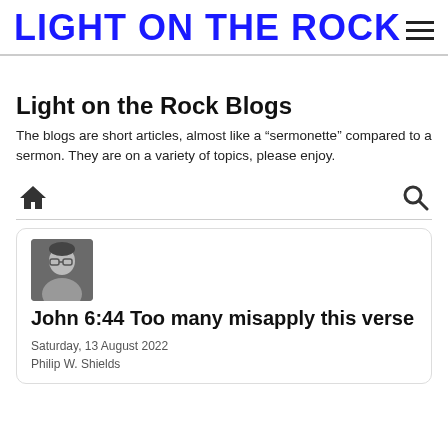LIGHT ON THE ROCK
Light on the Rock Blogs
The blogs are short articles, almost like a “sermonette” compared to a sermon. They are on a variety of topics, please enjoy.
[Figure (infographic): Navigation icons: home icon on left, search icon on right]
[Figure (photo): Headshot photo of Philip W. Shields, a man wearing glasses and a suit]
John 6:44 Too many misapply this verse
Saturday, 13 August 2022
Philip W. Shields